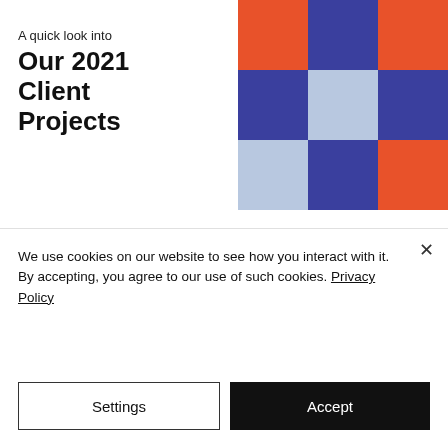A quick look into
Our 2021 Client Projects
[Figure (illustration): A 3x3 mosaic grid of colored squares in orange/red, dark blue, and light blue arranged in a decorative pattern]
We use cookies on our website to see how you interact with it. By accepting, you agree to our use of such cookies. Privacy Policy
Settings
Accept